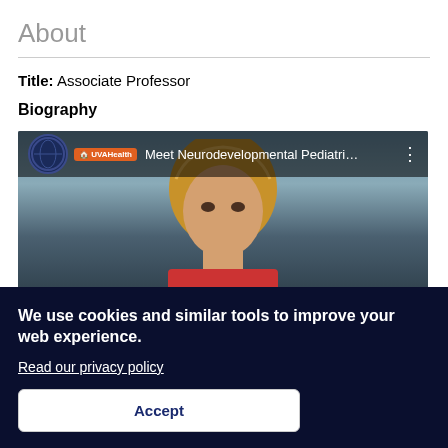About
Title: Associate Professor
Biography
[Figure (screenshot): YouTube video thumbnail showing a woman with blonde hair and text 'Meet Neurodevelopmental Pediatri...' with UVA Health logo overlay bar at the top of the video.]
We use cookies and similar tools to improve your web experience.
Read our privacy policy
Accept